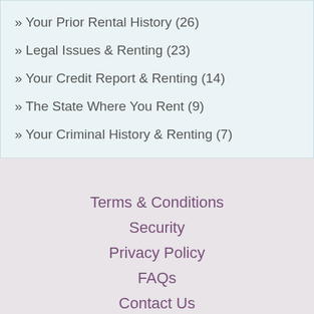» Your Prior Rental History (26)
» Legal Issues & Renting (23)
» Your Credit Report & Renting (14)
» The State Where You Rent (9)
» Your Criminal History & Renting (7)
Terms & Conditions
Security
Privacy Policy
FAQs
Contact Us